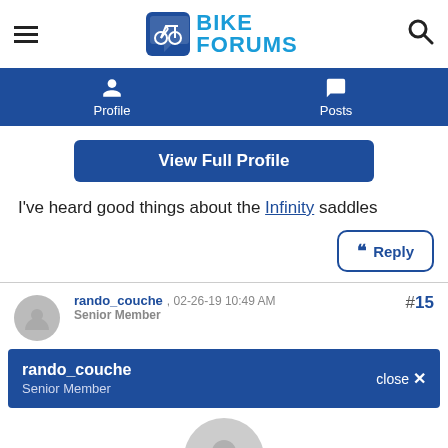Bike Forums
Profile | Posts
View Full Profile
I've heard good things about the Infinity saddles
Reply
#15
rando_couche , 02-26-19 10:49 AM
Senior Member
rando_couche
Senior Member
close ✕
[Figure (other): Large default user avatar circle with person silhouette]
04-09-22